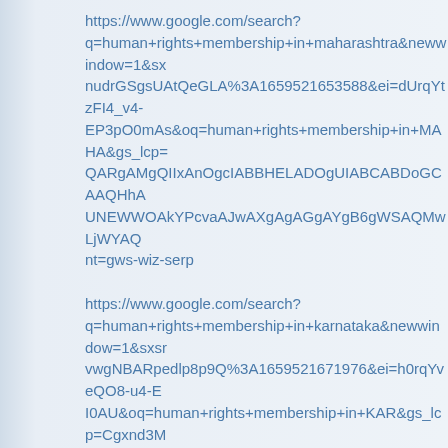https://www.google.com/search?q=human+rights+membership+in+maharashtra&newwindow=1&sxnudrGSgsUAtQeGLA%3A1659521653588&ei=dUrqYtzFI4_v4-EP3pO0mAs&oq=human+rights+membership+in+MAHA&gs_lcp=QARgAMgQIIxAnOgcIABBHELADOgUIABCABDoGCAAQHhAUNEWWOAkYPcvaAJwAXgAgAGgAYgB6gWSAQMwLjWYAQnt=gws-wiz-serp
https://www.google.com/search?q=human+rights+membership+in+karnataka&newwindow=1&sxsrvwgNBARpedlp8p9Q%3A1659521671976&ei=h0rqYveQO8-u4-EI0AU&oq=human+rights+membership+in+KAR&gs_lcp=Cgxnd3MgQIIxAnOgcIABBHELADSgQIQRgASgQIRhgAUPMUWKoXNxQOSAQMwLjOYAQCgAQHIAQjAAQE&sclient=gws-wiz-serp
https://www.google.com/search?q=human+rights+membership+in+tamilnadu&newwindow=1&sxsrG0fO4jaL-0w3Snw%3A1659522015806&ei=30vqYr3iMJOe4-EPwbOYuAY&oq=human+rights+membership+in+tamil&gs_lcp=CARgAMgQIIxAnMgYIABAeEBYyBggAEB4QFjIFCAAQhgMyBCFCAAQhgMyBQgAEIYDOgcIABBHELADOgoIABBHELADEMIBHELADEMUOcFWLsNYPUaaAFwAXgAgAHVAogBuAqSAQcwLjEuMi4ym